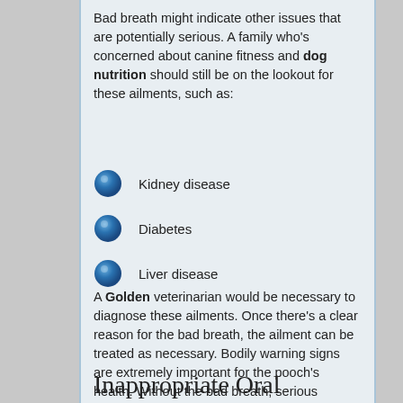Bad breath might indicate other issues that are potentially serious. A family who's concerned about canine fitness and dog nutrition should still be on the lookout for these ailments, such as:
Kidney disease
Diabetes
Liver disease
A Golden veterinarian would be necessary to diagnose these ailments. Once there's a clear reason for the bad breath, the ailment can be treated as necessary. Bodily warning signs are extremely important for the pooch's health. Without the bad breath, serious diseases can go overlooked.
Inappropriate Oral